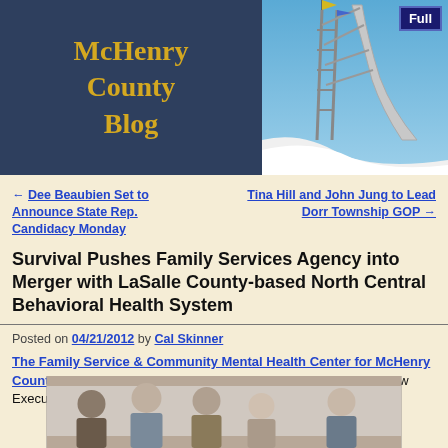McHenry County Blog
[Figure (photo): Header banner with McHenry County Blog title on dark blue background left, and ski jump structure photograph on right with blue sky]
← Dee Beaubien Set to Announce State Rep. Candidacy Monday
Tina Hill and John Jung to Lead Dorr Township GOP →
Survival Pushes Family Services Agency into Merger with LaSalle County-based North Central Behavioral Health System
Posted on 04/21/2012 by Cal Skinner
The Family Service & Community Mental Health Center for McHenry County has been in trouble for "over five years," according to its new Executive Director Lori Nelson.
[Figure (photo): Group photo of several people seated and standing in what appears to be a meeting room]